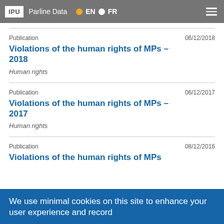IPU | Parline Data | EN | FR
Publication	06/12/2018
Violations of the human rights of MPs – 2018
Human rights
Publication	06/12/2017
Violations of the human rights of MPs – 2017
Human rights
Publication	08/12/2016
Violations of the human rights of MPs
We use minimal cookies on this site to enhance your user experience and record